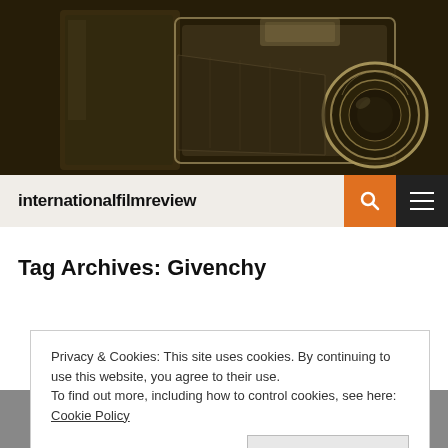[Figure (photo): Sepia-toned vintage camera photograph on dark background, website hero image for internationalfilmreview]
internationalfilmreview
Tag Archives: Givenchy
Privacy & Cookies: This site uses cookies. By continuing to use this website, you agree to their use.
To find out more, including how to control cookies, see here: Cookie Policy
Close and accept